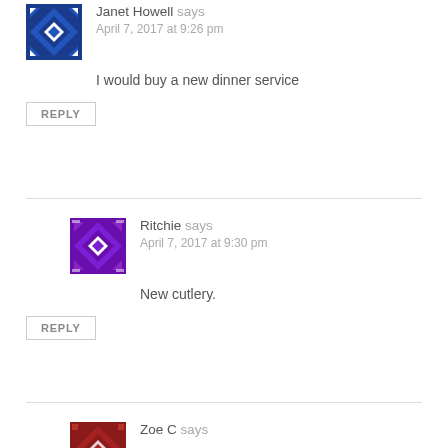Janet Howell says
April 7, 2017 at 9:26 pm
I would buy a new dinner service
REPLY
Ritchie says
April 7, 2017 at 9:30 pm
New cutlery.
REPLY
Zoe C says